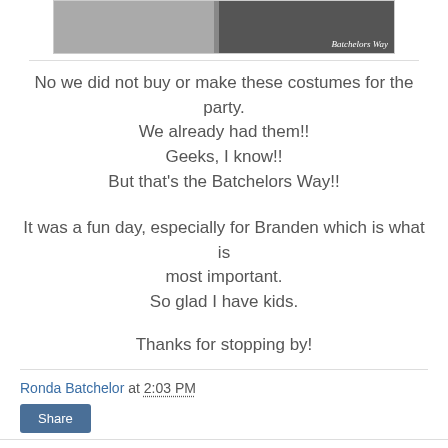[Figure (photo): Two-panel photo strip: left panel shows costumes/props outdoors, right panel shows dark background with 'Batchelors Way' text in cursive]
No we did not buy or make these costumes for the party.
We already had them!!
Geeks, I know!!
But that's the Batchelors Way!!
It was a fun day, especially for Branden which is what is most important.
So glad I have kids.
Thanks for stopping by!
Ronda Batchelor at 2:03 PM
Share
2 comments: